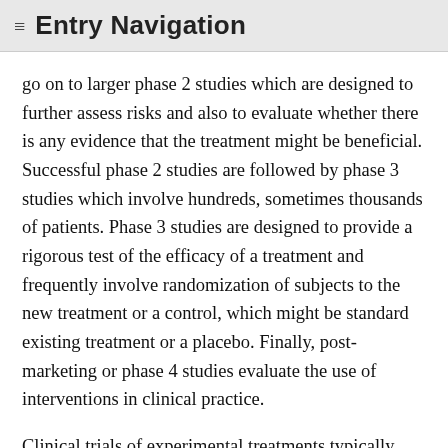≡  Entry Navigation
go on to larger phase 2 studies which are designed to further assess risks and also to evaluate whether there is any evidence that the treatment might be beneficial. Successful phase 2 studies are followed by phase 3 studies which involve hundreds, sometimes thousands of patients. Phase 3 studies are designed to provide a rigorous test of the efficacy of a treatment and frequently involve randomization of subjects to the new treatment or a control, which might be standard existing treatment or a placebo. Finally, post-marketing or phase 4 studies evaluate the use of interventions in clinical practice.
Clinical trials of experimental treatments typically include purely research procedures, such as blood draws, imaging scans, or biopsies, that are performed to collect data regarding the treatment under study. Analysis of the ethics of clinical research thus requires evaluation of three related risk-benefit profiles: (a) the risk-benefit profile of the interventions(s) under study; (b) the risk-benefit profile of the included research procedures; and (c) the